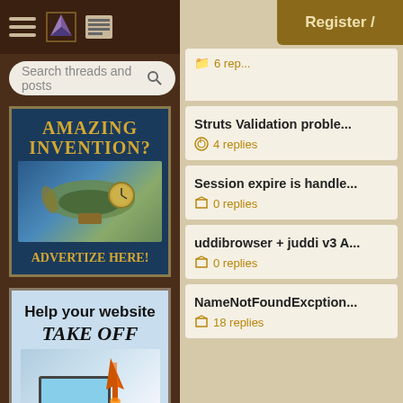Search threads and posts
[Figure (screenshot): Advertisement banner: Amazing Invention? Advertize Here! - steampunk airship illustration on dark blue background with gold text]
[Figure (screenshot): Advertisement banner: Help your website Take Off - laptop with rocket illustration, Advertise Here!]
Register /
Struts Validation proble... | 4 replies
Session expire is handle... | 0 replies
uddibrowser + juddi v3 A... | 0 replies
NameNotFoundExcption... | 18 replies